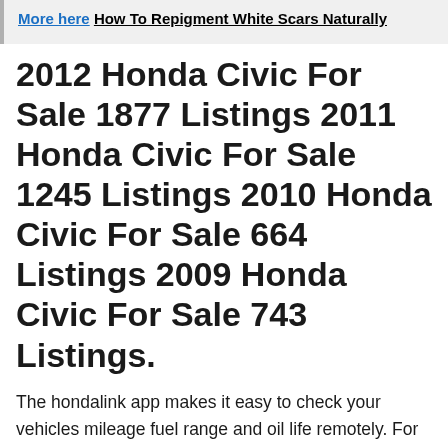More here How To Repigment White Scars Naturally
2012 Honda Civic For Sale 1877 Listings 2011 Honda Civic For Sale 1245 Listings 2010 Honda Civic For Sale 664 Listings 2009 Honda Civic For Sale 743 Listings.
The hondalink app makes it easy to check your vehicles mileage fuel range and oil life remotely. For more oil reset and diy maintenance, make sure to subscribe to our channel! Place the key into the #2 position (do not start engine).
Hold The Select/Reset Button